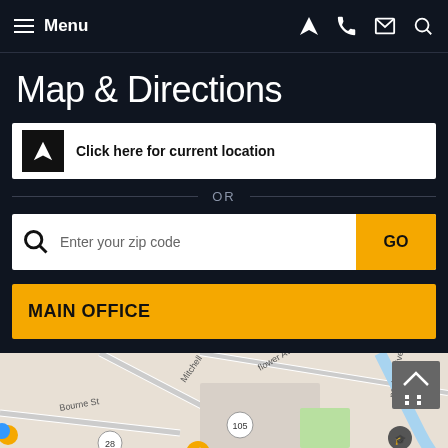Menu
Map & Directions
Click here for current location
OR
Enter your zip code
GO
MAIN OFFICE
[Figure (map): Street map showing Middleboro area with streets including Bourne St, Flower Ave, Mitchell, Nasket River area, route markers 105 and 28, and Middleboro Little League location. Map pins visible including orange and green markers.]